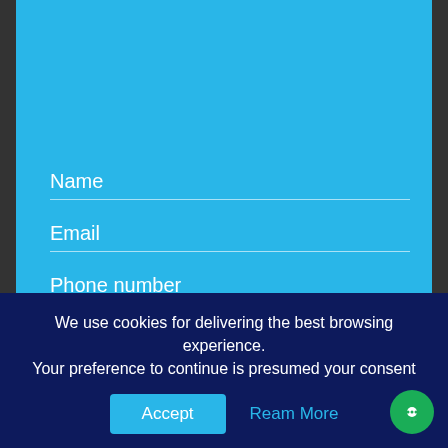[Figure (screenshot): Blue contact form panel with fields for Name, Email, and Phone number on a light blue background]
Name
Email
Phone number
We use cookies for delivering the best browsing experience. Your preference to continue is presumed your consent
Accept
Ream More